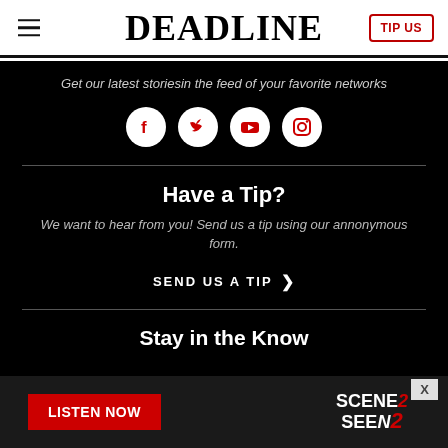DEADLINE
Get our latest storiesin the feed of your favorite networks
[Figure (other): Social media icons: Facebook, Twitter, YouTube, Instagram — white icons on dark circular backgrounds]
Have a Tip?
We want to hear from you! Send us a tip using our annonymous form.
SEND US A TIP >
Stay in the Know
[Figure (other): Advertisement banner: LISTEN NOW button in red, SCENE2SEEN logo on right side]